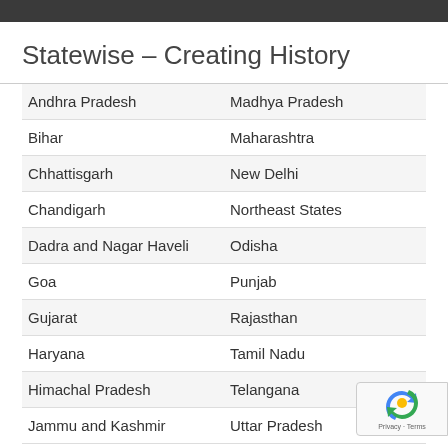Statewise – Creating History
| Andhra Pradesh | Madhya Pradesh |
| Bihar | Maharashtra |
| Chhattisgarh | New Delhi |
| Chandigarh | Northeast States |
| Dadra and Nagar Haveli | Odisha |
| Goa | Punjab |
| Gujarat | Rajasthan |
| Haryana | Tamil Nadu |
| Himachal Pradesh | Telangana |
| Jammu and Kashmir | Uttar Pradesh |